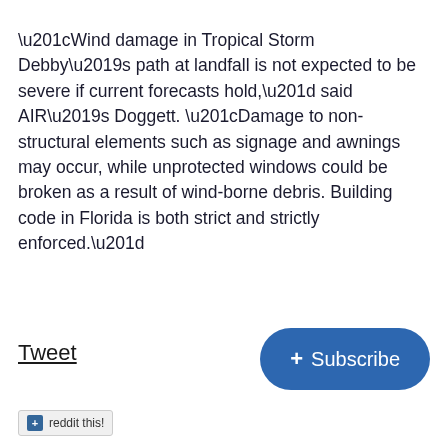“Wind damage in Tropical Storm Debby’s path at landfall is not expected to be severe if current forecasts hold,” said AIR’s Doggett. “Damage to non-structural elements such as signage and awnings may occur, while unprotected windows could be broken as a result of wind-borne debris. Building code in Florida is both strict and strictly enforced.”
Tweet
[Figure (other): Blue rounded rectangle Subscribe button with plus icon]
[Figure (other): Reddit share button with blue plus icon and text 'reddit this!']